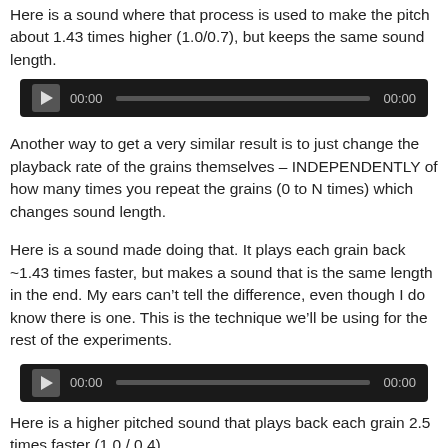Here is a sound where that process is used to make the pitch about 1.43 times higher (1.0/0.7), but keeps the same sound length.
[Figure (other): Audio player widget with play button, time 00:00, progress bar, and end time 00:00 on dark background]
Another way to get a very similar result is to just change the playback rate of the grains themselves – INDEPENDENTLY of how many times you repeat the grains (0 to N times) which changes sound length.
Here is a sound made doing that. It plays each grain back ~1.43 times faster, but makes a sound that is the same length in the end. My ears can't tell the difference, even though I do know there is one. This is the technique we'll be using for the rest of the experiments.
[Figure (other): Audio player widget with play button, time 00:00, progress bar, and end time 00:00 on dark background]
Here is a higher pitched sound that plays back each grain 2.5 times faster (1.0 / 0.4).
[Figure (other): Audio player widget partially visible at bottom of page]